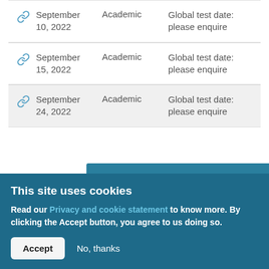|  | Date | Type | Info |
| --- | --- | --- | --- |
| link | September 10, 2022 | Academic | Global test date: please enquire |
| link | September 15, 2022 | Academic | Global test date: please enquire |
| link | September 24, 2022 | Academic | Global test date: please enquire |
CHECK AVAILABILITY >
British Council test location -Dresden
This site uses cookies
Read our Privacy and cookie statement to know more. By clicking the Accept button, you agree to us doing so.
Accept   No, thanks